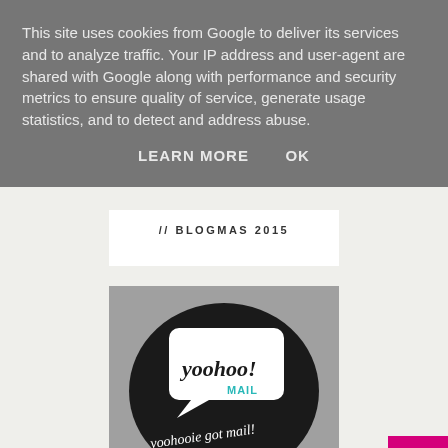This site uses cookies from Google to deliver its services and to analyze traffic. Your IP address and user-agent are shared with Google along with performance and security metrics to ensure quality of service, generate usage statistics, and to detect and address abuse.
LEARN MORE   OK
// BLOGMAS 2015
[Figure (photo): A black circular sticker/badge featuring a speech bubble that reads 'yoohoo! MAIL' in black script and teal text, with 'yoohooie got mail!' written in white cursive script below, on a grey textured background.]